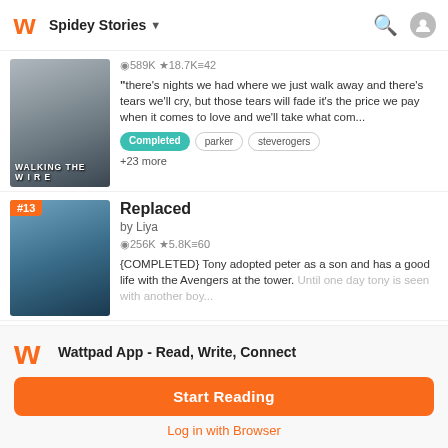Spidey Stories
[Figure (screenshot): Book cover for 'Walking the Wire' - grayscale image of a hand]
589K ★ 18.7K ≡ 42
"there's nights we had where we just walk away and there's tears we'll cry, but those tears will fade it's the price we pay when it comes to love and we'll take what com...
Completed  parker  steverogers
+23 more
[Figure (screenshot): Book cover for 'Replaced' - photo of two people]
Replaced
by Liya
256K ★ 5.8K ≡ 60
{COMPLETED} Tony adopted peter as a son and has a good life with the Avengers at the tower. Until one day tony is seen with another boy...
Wattpad App - Read, Write, Connect
Start Reading
Log in with Browser